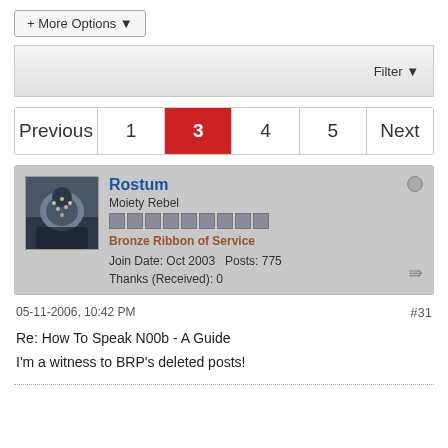+ More Options ▾
Filter ▾
Previous  1  3  4  5  Next
Rostum
Moiety Rebel
Bronze Ribbon of Service
Join Date: Oct 2003   Posts: 775
Thanks (Received): 0
05-11-2006, 10:42 PM
#31
Re: How To Speak N00b - A Guide
I'm a witness to BRP's deleted posts!